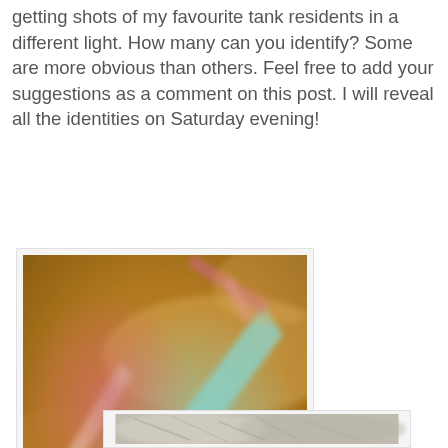getting shots of my favourite tank residents in a different light. How many can you identify? Some are more obvious than others. Feel free to add your suggestions as a comment on this post. I will reveal all the identities on Saturday evening!
[Figure (photo): Close-up macro photograph of blurred, colorful shapes resembling coral or sea creature spines/tentacles in golden, pink, teal and cream tones against an orange-brown background.]
[Figure (photo): Partial view of a second photograph, showing a similar close-up of what appears to be a reef/aquarium organism, mostly grey/white tones, partially visible at bottom of page.]